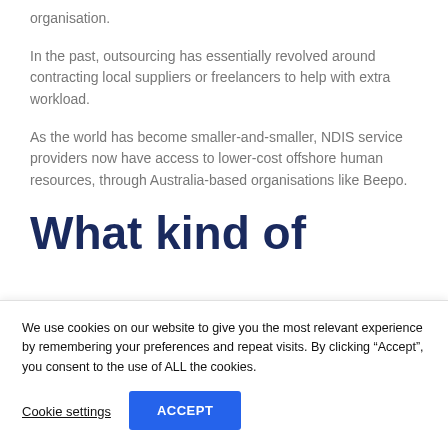organisation.
In the past, outsourcing has essentially revolved around contracting local suppliers or freelancers to help with extra workload.
As the world has become smaller-and-smaller, NDIS service providers now have access to lower-cost offshore human resources, through Australia-based organisations like Beepo.
What kind of
We use cookies on our website to give you the most relevant experience by remembering your preferences and repeat visits. By clicking “Accept”, you consent to the use of ALL the cookies.
Cookie settings   ACCEPT